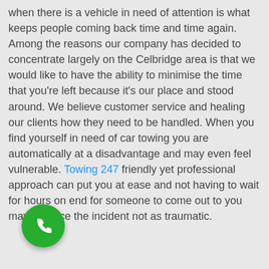when there is a vehicle in need of attention is what keeps people coming back time and time again. Among the reasons our company has decided to concentrate largely on the Celbridge area is that we would like to have the ability to minimise the time that you're left because it's our place and stood around. We believe customer service and healing our clients how they need to be handled. When you find yourself in need of car towing you are automatically at a disadvantage and may even feel vulnerable. Towing 247 friendly yet professional approach can put you at ease and not having to wait for hours on end for someone to come out to you may produce the incident not as traumatic.
[Figure (other): Green circular phone/call button with white telephone handset icon]